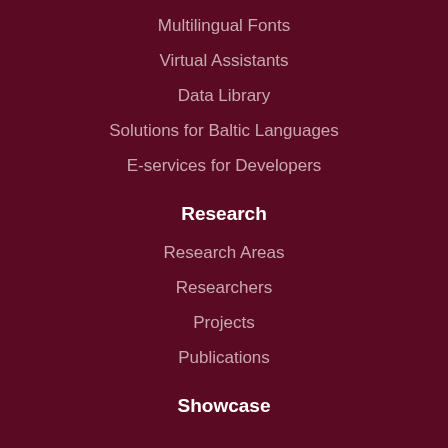Multilingual Fonts
Virtual Assistants
Data Library
Solutions for Baltic Languages
E-services for Developers
Research
Research Areas
Researchers
Projects
Publications
Showcase
About Tilde